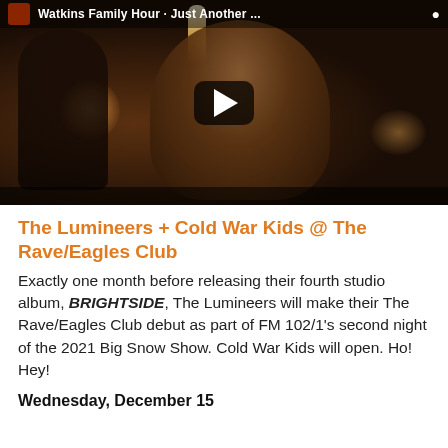[Figure (screenshot): Video thumbnail showing a woman playing violin/fiddle at a microphone in a dimly lit studio, with a man in background. Play button overlay visible. Top bar shows 'Watkins Family Hour - Just Another...' text with logo icon.]
The Lumineers + Cold War Kids @ The Rave/Eagles Club
Exactly one month before releasing their fourth studio album, BRIGHTSIDE, The Lumineers will make their The Rave/Eagles Club debut as part of FM 102/1's second night of the 2021 Big Snow Show. Cold War Kids will open. Ho! Hey!
Wednesday, December 15